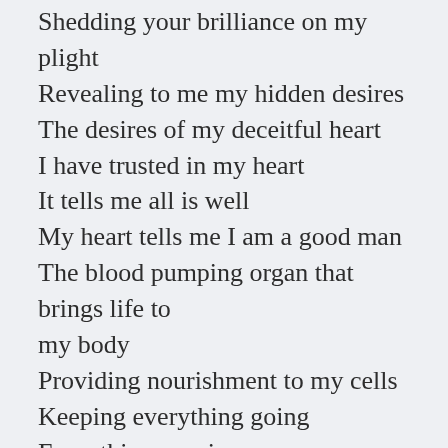Shedding your brilliance on my plight
Revealing to me my hidden desires
The desires of my deceitful heart
I have trusted in my heart
It tells me all is well
My heart tells me I am a good man
The blood pumping organ that brings life to my body
Providing nourishment to my cells
Keeping everything going
Everything running
Is true and faithful to my physical body
My heart will always do everything it can
To make the provisions needed for my well